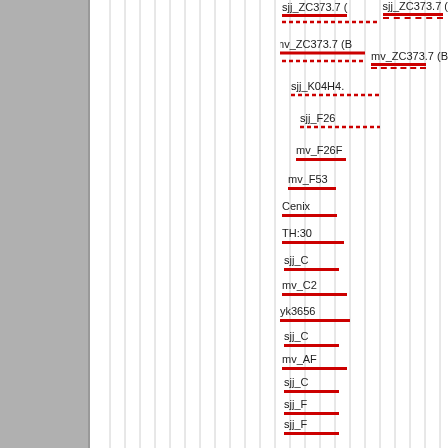[Figure (other): Dendrogram or hierarchical clustering visualization showing labeled branches on a white background with vertical gray lines. The right side shows truncated text labels with red bars underneath each label, representing cluster branches or tree nodes. Labels visible include: sjj_ZC373.7, mv_ZC373.7 (B..., sjj_K04H4., sjj_F26..., mv_F26F..., mv_F53..., Cenix..., TH:30..., sjj_C..., mv_C2..., yk3656..., sjj_C..., mv_AF..., sjj_C..., sjj_F..., sjj_F..., mv_C0..., mv_F2..., mv_F5..., yk311..., sjj_..., mv_Z..., m...]